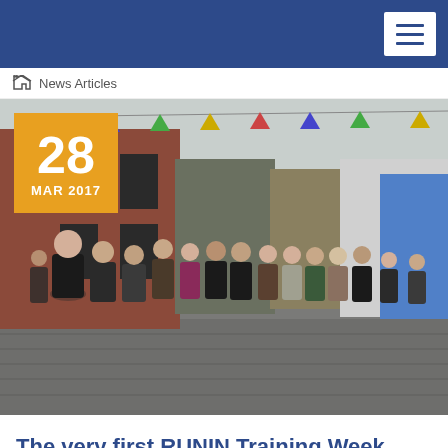News Articles
[Figure (photo): Group of approximately 20 people standing on a cobblestone street lined with brick buildings and colorful bunting flags, with a date badge showing 28 MAR 2017 in gold/amber color in the top-left corner.]
The very first RUNIN Training Week